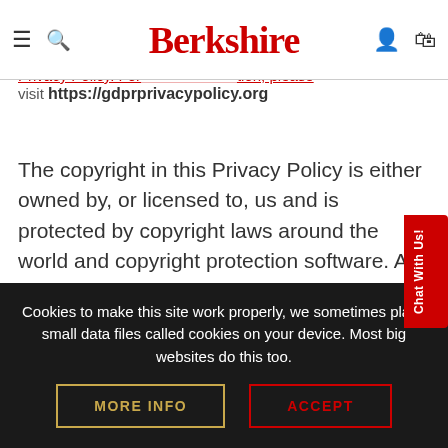Berkshire [website header with navigation: hamburger menu, search icon, Berkshire logo, user icon, bag icon]
Protection Regulation (EU) 2016/769). compliant [text obscured by header] ded by GDR Privacy Policy. For [text obscured] tion, please visit https://gdprprivacypolicy.org
The copyright in this Privacy Policy is either owned by, or licensed to, us and is protected by copyright laws around the world and copyright protection software. All intellectual property rights in this document are reserved.
Where we display the GDPR Privacy Policy logo o our website, this is used to indicate that we have
Cookies to make this site work properly, we sometimes place small data files called cookies on your device. Most big websites do this too.
MORE INFO   ACCEPT